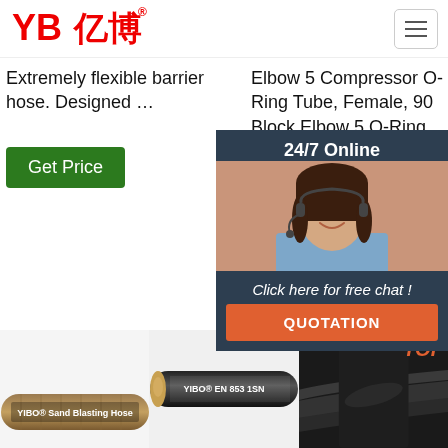[Figure (logo): YB亿博 company logo in red with Chinese characters]
Extremely flexible barrier hose. Designed …
Elbow 5 Compressor O-Ring Tube, Female, 90 Block Elbow 5 O-Ring Insert, Male, 45 Elbow 6 Compressor O-Ring Tube, Female, R134a Valve, 90 Block Elbow 6
Goodyear Gorilla Hose Grade Goodyear Hose
[Figure (photo): Customer service representative with headset — 24/7 Online chat widget overlay with QUOTATION button]
[Figure (photo): YIBO Sand Blasting Hose product image]
[Figure (photo): YIBO EN 853 1SN hose product image]
[Figure (photo): Person holding hydraulic hoses, dark background]